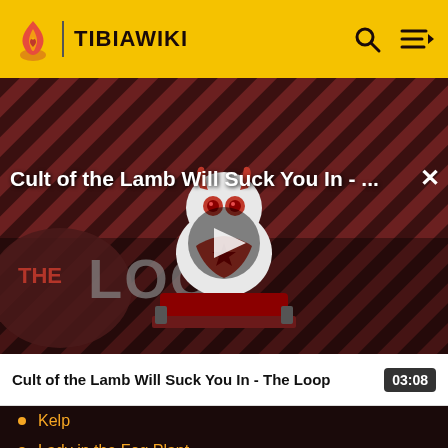TIBIAWIKI
[Figure (screenshot): Video thumbnail for 'Cult of the Lamb Will Suck You In - The Loop' showing a cartoon lamb character on a dark diagonal striped background with THE LOOP text and a play button overlay]
Cult of the Lamb Will Suck You In - The Loop   03:08
Kelp
Lady in the Fog Plant
Laminaria
Lampion Tree